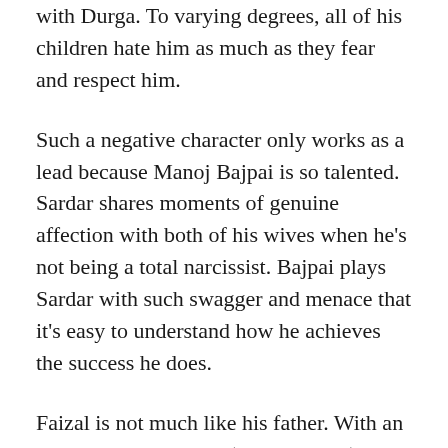with Durga. To varying degrees, all of his children hate him as much as they fear and respect him.
Such a negative character only works as a lead because Manoj Bajpai is so talented. Sardar shares moments of genuine affection with both of his wives when he's not being a total narcissist. Bajpai plays Sardar with such swagger and menace that it's easy to understand how he achieves the success he does.
Faizal is not much like his father. With an older brother, Danish (Vineet Singh), as Sardar's natural heir, Faizal can waste his time getting stoned. Circumstances eventually force him to take a more active role in the family business, and Faizal proves to be unexpectedly ruthless.
Nawazuddin Siddiqui owns every scene he's in. He's talented enough to make scenes in which Faizal sits starring some of the most riveting scenes in the movie. Faizal's conflicted